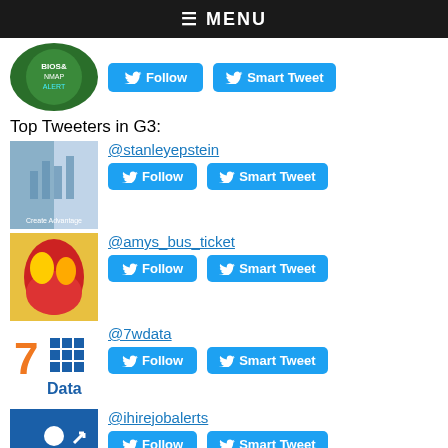≡ MENU
[Figure (screenshot): Partial top row showing a profile image and Follow / Smart Tweet buttons from previous section]
Top Tweeters in G3:
[Figure (photo): Profile image for @stanleyepstein - blue glass building]
@stanleyepstein
[Figure (screenshot): Follow and Smart Tweet buttons for @stanleyepstein]
[Figure (photo): Profile image for @amys_bus_ticket - red/yellow bird]
@amys_bus_ticket
[Figure (screenshot): Follow and Smart Tweet buttons for @amys_bus_ticket]
[Figure (logo): 7wdata logo - orange 7 with blue data blocks]
@7wdata
[Figure (screenshot): Follow and Smart Tweet buttons for @7wdata]
[Figure (logo): iHireJobAlerts logo - blue background with white person icon]
@ihirejobalerts
[Figure (screenshot): Follow and Smart Tweet buttons for @ihirejobalerts]
[Figure (photo): Profile image placeholder (broken) for @megaxard]
@megaxard
[Figure (screenshot): Follow and Smart Tweet buttons for @megaxard]
[Figure (photo): Profile image placeholder (broken) for @makoswaan]
@makoswaan
[Figure (screenshot): Follow and Smart Tweet buttons for @makoswaan]
[Figure (photo): Partial profile image for @money_personal - chart/graph image]
@money_personal